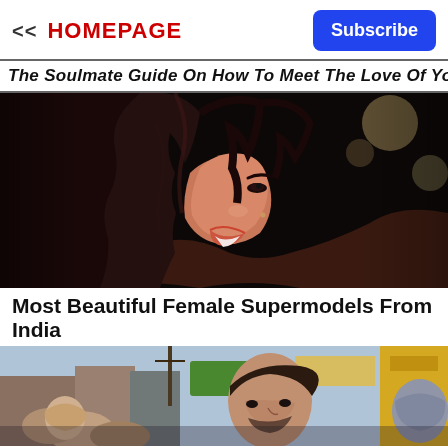<< HOMEPAGE
Subscribe
The Soulmate Guide On How To Meet The Love Of Your Life
[Figure (photo): Close-up portrait of a smiling young woman with dark curly hair, looking sideways, against a dark background]
Most Beautiful Female Supermodels From India
[Figure (photo): Outdoor crowd scene with a man with dark hair in the foreground, blurred street and buildings in the background]